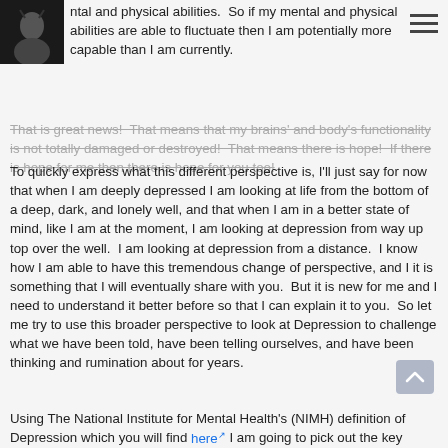[Figure (photo): Small square photo thumbnail of a person, dark background, top-left corner of header]
ntal and physical abilities.  So if my mental and physical abilities are able to fluctuate then I am potentially more capable than I am currently.
That is great news!  That means that my brains' and body's functionality is not totally damaged or destroyed!  That means there is hope!  If there is hope for me then there is hope for you too!
To quickly express what this different perspective is, I'll just say for now that when I am deeply depressed I am looking at life from the bottom of a deep, dark, and lonely well, and that when I am in a better state of mind, like I am at the moment, I am looking at depression from way up top over the well.  I am looking at depression from a distance.  I know how I am able to have this tremendous change of perspective, and I it is something that I will eventually share with you.  But it is new for me and I need to understand it better before so that I can explain it to you.  So let me try to use this broader perspective to look at Depression to challenge what we have been told, have been telling ourselves, and have been thinking and rumination about for years.
Using The National Institute for Mental Health's (NIMH) definition of Depression which you will find here I am going to pick out the key